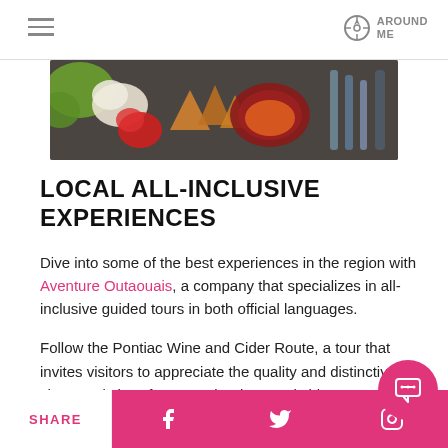AROUND ME
[Figure (photo): Top view of assorted food items including vegetables, chips, dips and spreads on a dark surface]
LOCAL ALL-INCLUSIVE EXPERIENCES
Dive into some of the best experiences in the region with Aventure Outaouais, a company that specializes in all-inclusive guided tours in both official languages.
Follow the Pontiac Wine and Cider Route, a tour that invites visitors to appreciate the quality and distinctive characteristics of Outaouais wines and ciders. You can also discover incredible natural wonders on a tour of Petite Nation, or kayak down the majestic Picanoc River and climb an observation tower to admire one of the most beautiful views...
SHARE